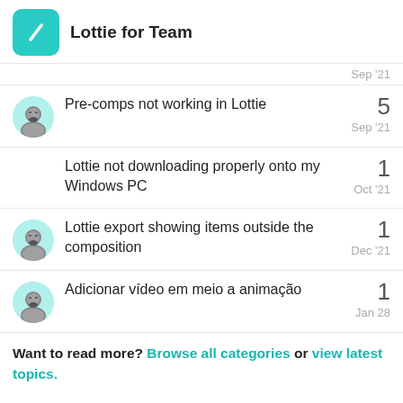Lottie for Team
Sep '21
Pre-comps not working in Lottie | 5 | Sep '21
Lottie not downloading properly onto my Windows PC | 1 | Oct '21
Lottie export showing items outside the composition | 1 | Dec '21
Adicionar vídeo em meio a animação | 1 | Jan 28
Want to read more? Browse all categories or view latest topics.